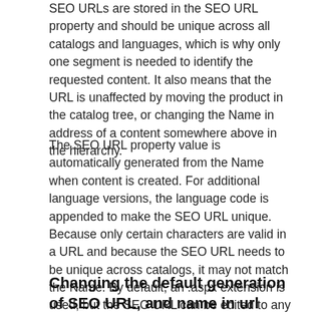SEO URLs are stored in the SEO URL property and should be unique across all catalogs and languages, which is why only one segment is needed to identify the requested content. It also means that the URL is unaffected by moving the product in the catalog tree, or changing the Name in address of a content somewhere above in the hierarchy.
The SEO URL property value is automatically generated from the Name when content is created. For additional language versions, the language code is appended to make the SEO URL unique. Because only certain characters are valid in a URL and because the SEO URL needs to be unique across catalogs, it may not match the Name. By default, an .aspx extension is used, but the SEO URL can be edited to any valid value. It does not have to resemble Name or include an extension.
Changing the default generation of SEO URL, and name in url